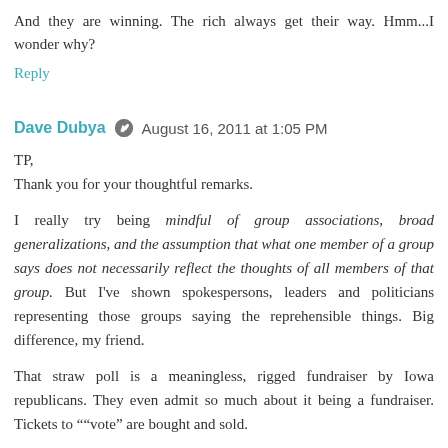And they are winning. The rich always get their way. Hmm...I wonder why?
Reply
Dave Dubya  August 16, 2011 at 1:05 PM
TP,
Thank you for your thoughtful remarks.
I really try being mindful of group associations, broad generalizations, and the assumption that what one member of a group says does not necessarily reflect the thoughts of all members of that group. But I've shown spokespersons, leaders and politicians representing those groups saying the reprehensible things. Big difference, my friend.
That straw poll is a meaningless, rigged fundraiser by Iowa republicans. They even admit so much about it being a fundraiser. Tickets to "“vote" are bought and sold.
Nader is correct but sadly as irrelevant as the truth he